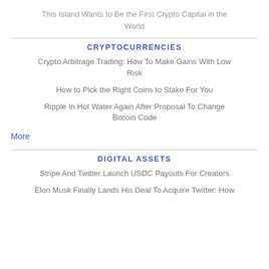This Island Wants to Be the First Crypto Capital in the World
CRYPTOCURRENCIES
Crypto Arbitrage Trading: How To Make Gains With Low Risk
How to Pick the Right Coins to Stake For You
Ripple In Hot Water Again After Proposal To Change Bitcoin Code
More
DIGITAL ASSETS
Stripe And Twitter Launch USDC Payouts For Creators
Elon Musk Finally Lands His Deal To Acquire Twitter: How